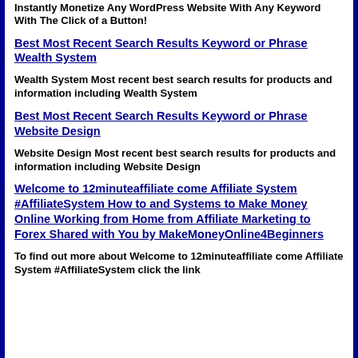Instantly Monetize Any WordPress Website With Any Keyword With The Click of a Button!
Best Most Recent Search Results Keyword or Phrase Wealth System
Wealth System Most recent best search results for products and information including Wealth System
Best Most Recent Search Results Keyword or Phrase Website Design
Website Design Most recent best search results for products and information including Website Design
Welcome to 12minuteaffiliate come Affiliate System #AffiliateSystem How to and Systems to Make Money Online Working from Home from Affiliate Marketing to Forex Shared with You by MakeMoneyOnline4Beginners
To find out more about Welcome to 12minuteaffiliate come Affiliate System #AffiliateSystem click the link